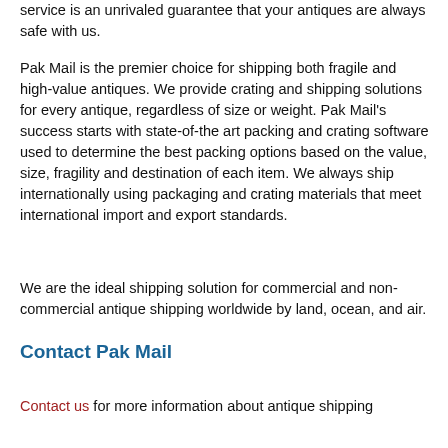service is an unrivaled guarantee that your antiques are always safe with us.
Pak Mail is the premier choice for shipping both fragile and high-value antiques. We provide crating and shipping solutions for every antique, regardless of size or weight. Pak Mail's success starts with state-of-the art packing and crating software used to determine the best packing options based on the value, size, fragility and destination of each item. We always ship internationally using packaging and crating materials that meet international import and export standards.
We are the ideal shipping solution for commercial and non-commercial antique shipping worldwide by land, ocean, and air.
Contact Pak Mail
Contact us for more information about antique shipping